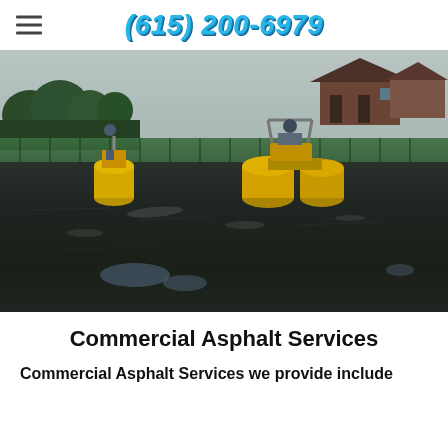(615) 200-6979
[Figure (photo): Two yellow asphalt road rollers/compactors working on a fresh dark asphalt surface. Green fence, trees, and a house visible in the background under an overcast sky. Water puddle reflections visible on the newly paved surface.]
Commercial Asphalt Services
Commercial Asphalt Services we provide include